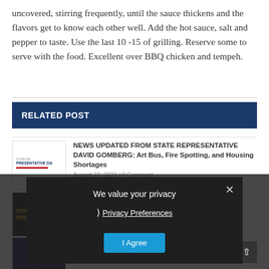uncovered, stirring frequently, until the sauce thickens and the flavors get to know each other well. Add the hot sauce, salt and pepper to taste. Use the last 10 -15 of grilling. Reserve some to serve with the food. Excellent over BBQ chicken and tempeh.
RELATED POST
[Figure (screenshot): Thumbnail image for news article about State Representative David Gomberg, showing partial text 'S FROM... PRESENTATIVE DA' with red underline bar]
NEWS UPDATED FROM STATE REPRESENTATIVE DAVID GOMBERG: Art Bus, Fire Spotting, and Housing Shortages
August 22, 2022 / 0 Comment
[Figure (screenshot): Thumbnail image showing 'WORDS OF WISDOM' text in yellow on dark background]
WORDS OF WISDOM: Listening Can Be The Change
We value your privacy
Privacy Preferences
I Agree
[Figure (screenshot): Thumbnail image with dark purple/maroon background with stylized text]
Politics at Play: Candidate: 'Mudslinging' Begins with Questions and Questions about Mayoral Candidate's Business Dealings